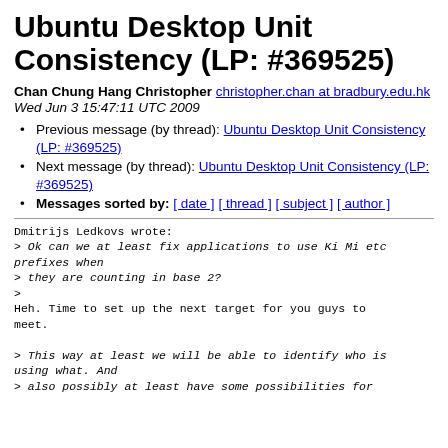Ubuntu Desktop Unit Consistency (LP: #369525)
Chan Chung Hang Christopher christopher.chan at bradbury.edu.hk
Wed Jun 3 15:47:11 UTC 2009
Previous message (by thread): Ubuntu Desktop Unit Consistency (LP: #369525)
Next message (by thread): Ubuntu Desktop Unit Consistency (LP: #369525)
Messages sorted by: [ date ] [ thread ] [ subject ] [ author ]
Dmitrijs Ledkovs wrote:
> Ok can we at least fix applications to use Ki Mi etc prefixes when
> they are counting in base 2?
>
Heh. Time to set up the next target for you guys to meet.

> This way at least we will be able to identify who is using what. And
> also possibly at least have some possibilities for